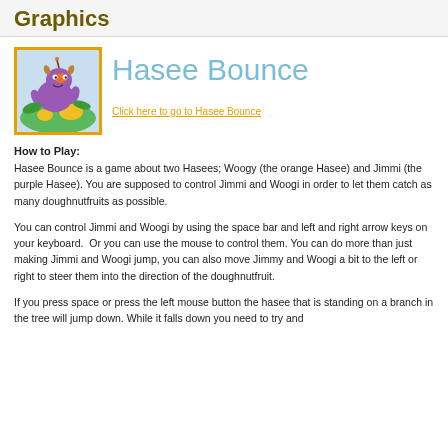Graphics
[Figure (illustration): Cartoon illustration of Hasee creatures (a purple hasee and colorful scene with fruit and leaves) in a square with orange border]
Hasee Bounce
Click here to go to Hasee Bounce
How to Play:
Hasee Bounce is a game about two Hasees; Woogy (the orange Hasee) and Jimmi (the purple Hasee). You are supposed to control Jimmi and Woogi in order to let them catch as many doughnutfruits as possible.
You can control Jimmi and Woogi by using the space bar and left and right arrow keys on your keyboard. Or you can use the mouse to control them. You can do more than just making Jimmi and Woogi jump, you can also move Jimmy and Woogi a bit to the left or right to steer them into the direction of the doughnutfruit.
If you press space or press the left mouse button the hasee that is standing on a branch in the tree will jump down. While it falls down you need to try and